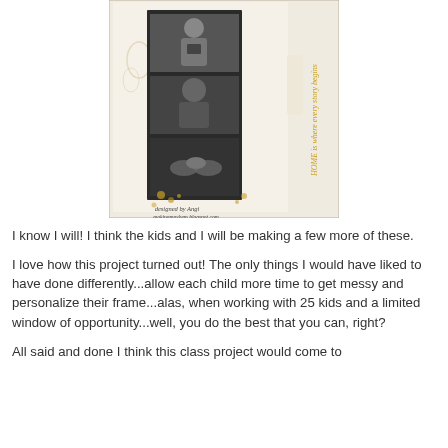[Figure (photo): A decorative photo frame with black and white photo strips showing children, with gold/cream embossed frame and cursive text reading 'HOME is where every story begins'. Watermark reads 'designed by Angi makingmayhem.blogspot.com']
I know I will! I think the kids and I will be making a few more of these.
I love how this project turned out! The only things I would have liked to have done differently...allow each child more time to get messy and personalize their frame...alas, when working with 25 kids and a limited window of opportunity...well, you do the best that you can, right?
All said and done I think this class project would come to